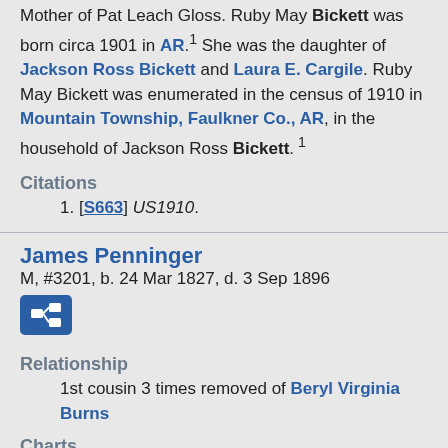Mother of Pat Leach Gloss. Ruby May Bickett was born circa 1901 in AR.1 She was the daughter of Jackson Ross Bickett and Laura E. Cargile. Ruby May Bickett was enumerated in the census of 1910 in Mountain Township, Faulkner Co., AR, in the household of Jackson Ross Bickett.1
Citations
1. [S663] US1910.
James Penninger
M, #3201, b. 24 Mar 1827, d. 3 Sep 1896
Relationship
1st cousin 3 times removed of Beryl Virginia Burns
Charts
Bickett Descendants
James Penninger was born on 24 Mar 1827 in NC.1,2 He was the son of Henry Penninger and Jane Bickett.
James Penninger was enumerated in Tall...